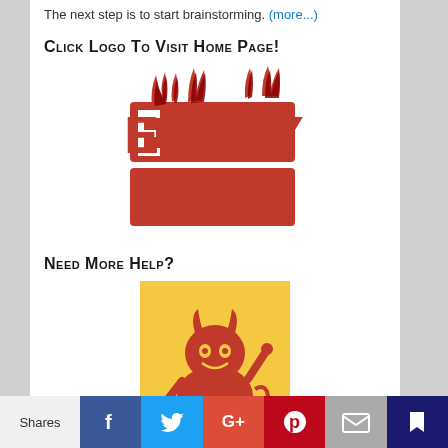The next step is to start brainstorming. (more...)
Click logo to visit Home Page!
[Figure (logo): Essay Hell logo — red stylized text reading ESSAY HELL with flame shapes above the letters]
Need More Help?
[Figure (illustration): Cartoon devil mascot on orange-yellow background — small red devil character with horns, smiling, raising one finger]
As a professional writing coach, I help students, parents, counselors, teachers and others from around
Shares | Facebook | Twitter | Google+ | Pinterest | Email | Bookmark